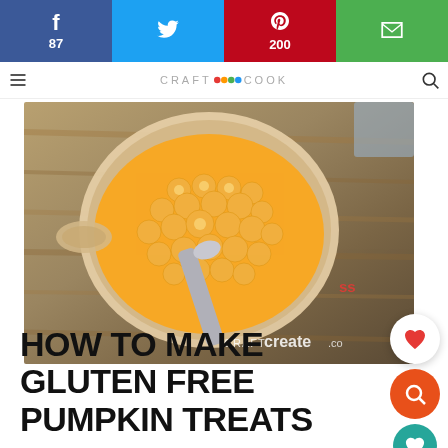f 87 | Twitter | P 200 | email
CRAFT CREATE COOK
[Figure (photo): Overhead view of a glass mixing bowl with yellow/orange pumpkin batter and a spoon, on a rustic wood table. Watermark reads 'CRAFT Create.co']
HOW TO MAKE GLUTEN FREE PUMPKIN TREATS